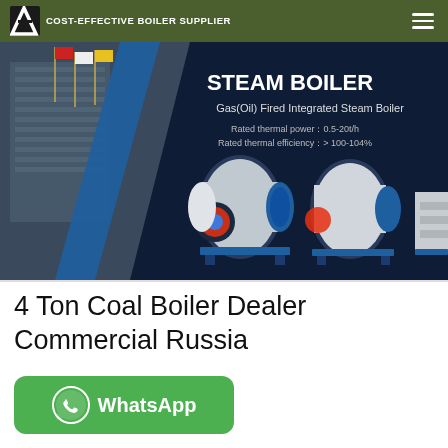COST-EFFECTIVE BOILER SUPPLIER
[Figure (photo): Steam boiler product banner showing Gas(Oil) Fired Integrated Steam Boiler with text: STEAM BOILER, Rated thermal power: 0.5-20t/h, Rated thermal efficiency: > 100-104%. Industrial boiler units shown against dark background with building exterior on left.]
4 Ton Coal Boiler Dealer Commercial Russia
[Figure (other): Green WhatsApp button with phone icon and 'WhatsApp' text]